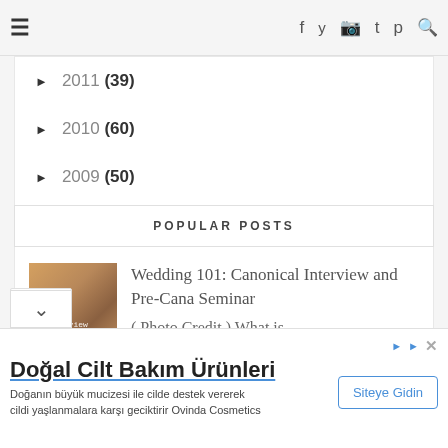≡  f  t  instagram  tumblr  p  search
► 2011 (39)
► 2010 (60)
► 2009 (50)
POPULAR POSTS
[Figure (photo): Thumbnail photo for 'Wedding 101: Canonical Interview and Pre-Cana Seminar' blog post]
Wedding 101: Canonical Interview and Pre-Cana Seminar
( Photo Credit ) What is
Doğal Cilt Bakım Ürünleri
Doğanın büyük mucizesi ile cilde destek vererek cildi yaşlanmalara karşı geciktirir Ovinda Cosmetics